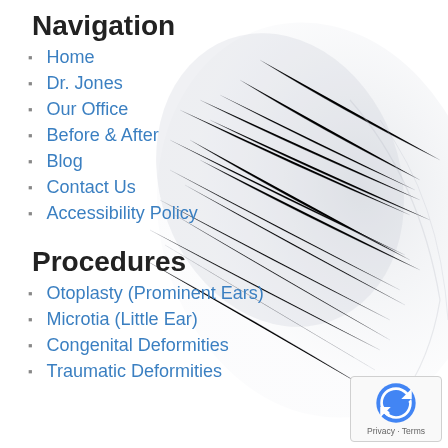Navigation
Home
Dr. Jones
Our Office
Before & After
Blog
Contact Us
Accessibility Policy
Procedures
Otoplasty (Prominent Ears)
Microtia (Little Ear)
Congenital Deformities
Traumatic Deformities
[Figure (illustration): Faded eagle wing watermark in background, light grey tones]